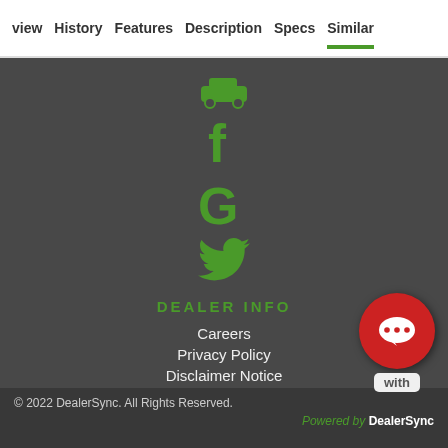view  History  Features  Description  Specs  Similar
[Figure (other): Social media share icons in green: car/share icon, Facebook f, Google G, Twitter bird]
DEALER INFO
Careers
Privacy Policy
Disclaimer Notice
[Figure (other): Red circular chat bubble button with ellipsis dots and 'with' label below]
© 2022 DealerSync. All Rights Reserved. Powered by DealerSync